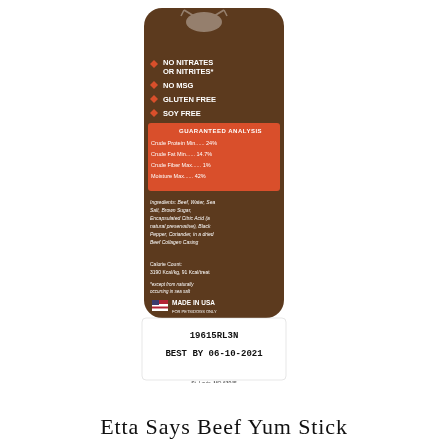[Figure (photo): Photo of an Etta Says Beef Yum Stick packaging — a narrow vertical brown stick/wrapper showing: NO NITRATES OR NITRITES*, NO MSG, GLUTEN FREE, SOY FREE bullet points (with orange diamond bullets), a red Guaranteed Analysis box (Crude Protein Min 24%, Crude Fat Min 14.7%, Crude Fiber Max 1%, Moisture Max 42%), ingredients text, calorie count, 'except from naturally occurring in sea salt' note, Made in USA badge with flag icon, NET WT .75 OZ (21.3G), a barcode (849200174...), Treat Planet, St. Louis, MO 63045, JRKSTK-BEEF, and a white bottom tab printed 19615RL3N BEST BY 06-10-2021.]
Etta Says Beef Yum Stick